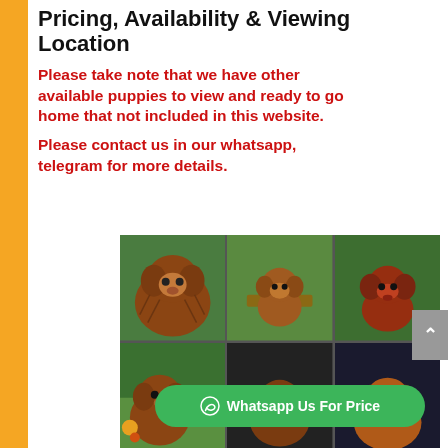Contact Us for Gender, Age, Pricing, Availability & Viewing Location
Please take note that we have other available puppies to view and ready to go home that not included in this website.
Please contact us in our whatsapp, telegram for more details.
[Figure (photo): Grid of six puppy photos showing small brown fluffy dogs (toy poodles/cavapoos) in a garden setting with plants and greenery]
Whatsapp Us For Price